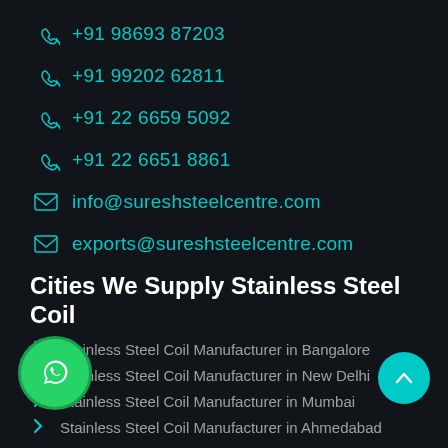+91 98693 87203
+91 99202 62811
+91 22 6659 5092
+91 22 6651 8861
info@sureshsteelcentre.com
exports@sureshsteelcentre.com
Cities We Supply Stainless Steel Coil
Stainless Steel Coil Manufacturer in Bangalore
Stainless Steel Coil Manufacturer in New Delhi
Stainless Steel Coil Manufacturer in Mumbai
Stainless Steel Coil Manufacturer in Ahmedabad